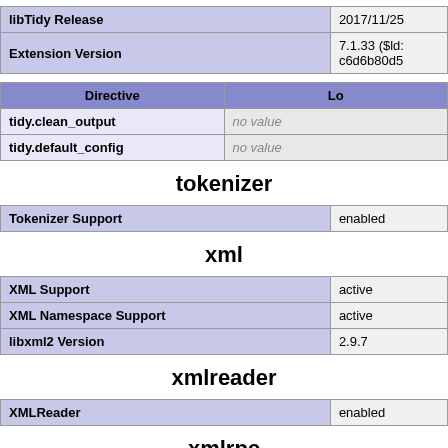| libTidy Release | 2017/11/25 |
| --- | --- |
| Extension Version | 7.1.33 ($ld: c6d6b80d5 |
| Directive | Lo |
| --- | --- |
| tidy.clean_output | no value |
| tidy.default_config | no value |
tokenizer
| Tokenizer Support | enabled |
xml
| XML Support | active |
| XML Namespace Support | active |
| libxml2 Version | 2.9.7 |
xmlreader
| XMLReader | enabled |
xmlrpc